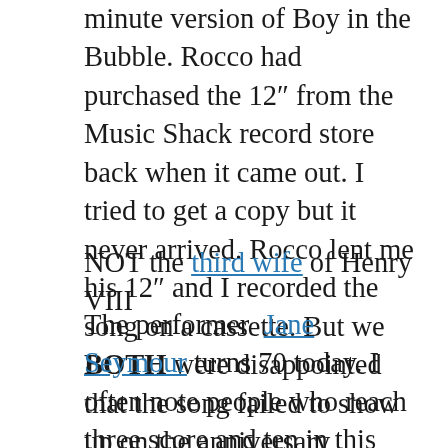minute version of Boy in the Bubble. Rocco had purchased the 12" from the Music Shack record store back when it came out. I tried to get a copy but it never arrived. Rocco lent me his 12" and I recorded the song on a cassette. But we BOTH were disappointed that the song failed to show up on the anniversary edition.
NOT the third wife of Henry VIII
The performer Jane Seymour turns 70 today. I often note people who reach three score and ten in this blog. Though I've seen her in few guest appearances, a miniseries or two, and some infomercials I've come across, I really only know her from one thing. And if you